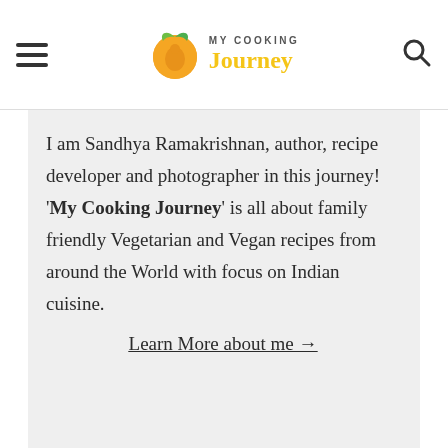MY COOKING Journey
I am Sandhya Ramakrishnan, author, recipe developer and photographer in this journey! 'My Cooking Journey' is all about family friendly Vegetarian and Vegan recipes from around the World with focus on Indian cuisine.
Learn More about me →